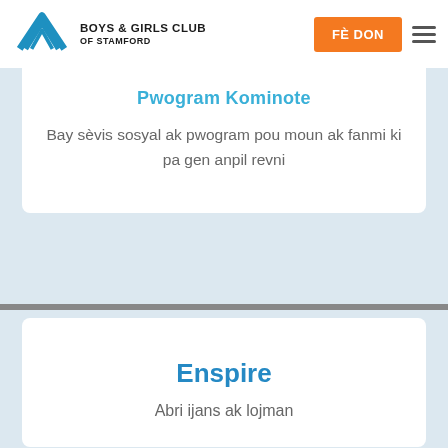BOYS & GIRLS CLUB OF STAMFORD — FÈ DON
Pwogram Kominote
Bay sèvis sosyal ak pwogram pou moun ak fanmi ki pa gen anpil revni
Enspire
Abri ijans ak lojman